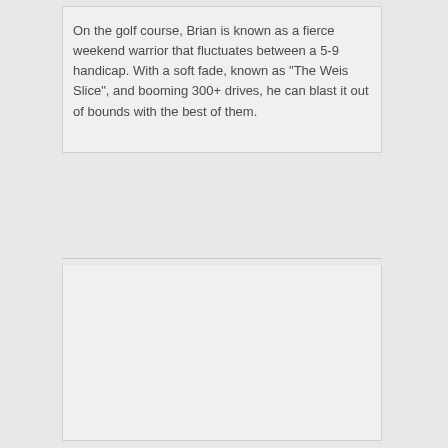On the golf course, Brian is known as a fierce weekend warrior that fluctuates between a 5-9 handicap. With a soft fade, known as "The Weis Slice", and booming 300+ drives, he can blast it out of bounds with the best of them.